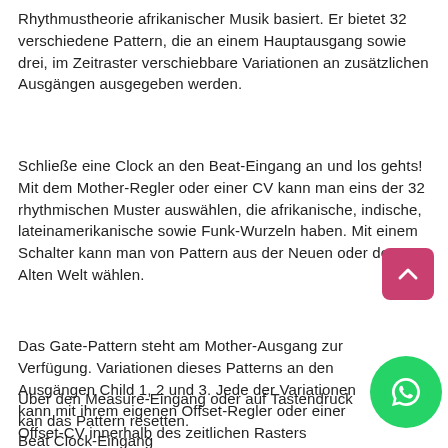Rhythmustheorie afrikanischer Musik basiert. Er bietet 32 verschiedene Pattern, die an einem Hauptausgang sowie drei, im Zeitraster verschiebbare Variationen an zusätzlichen Ausgängen ausgegeben werden.
Schließe eine Clock an den Beat-Eingang an und los gehts! Mit dem Mother-Regler oder einer CV kann man eins der 32 rhythmischen Muster auswählen, die afrikanische, indische, lateinamerikanische sowie Funk-Wurzeln haben. Mit einem Schalter kann man von Pattern aus der Neuen oder der Alten Welt wählen.
Das Gate-Pattern steht am Mother-Ausgang zur Verfügung. Variationen dieses Patterns an den Ausgängen Child 1, 2 und 3. Jede der Variationen kann mit ihrem eigenen Offset-Regler oder einer Offset-CV innerhalb des zeitlichen Rasters verschoben werden, was für sehr spannende und abwechslungsreiche Rhythmik sorgen kann. Jeder Kanal hat eine LED, die das Pattern visualisiert.
Über den Measure-Eingang oder auf Tastendruck kan das Pattern resetten.
Beat Clock-Eingang